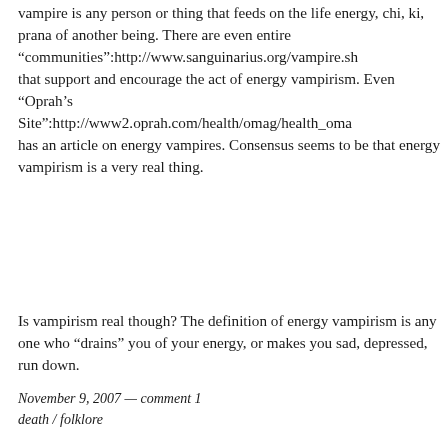vampire is any person or thing that feeds on the life energy, chi, ki, prana of another being. There are even entire “communities”:http://www.sanguinarius.org/vampire.sh that support and encourage the act of energy vampirism. Even “Oprah’s Site”:http://www2.oprah.com/health/omag/health_oma has an article on energy vampires. Consensus seems to be that energy vampirism is a very real thing.
Is vampirism real though? The definition of energy vampirism is any one who “drains” you of your energy, or makes you sad, depressed, run down.
November 9, 2007 — comment 1
death / folklore